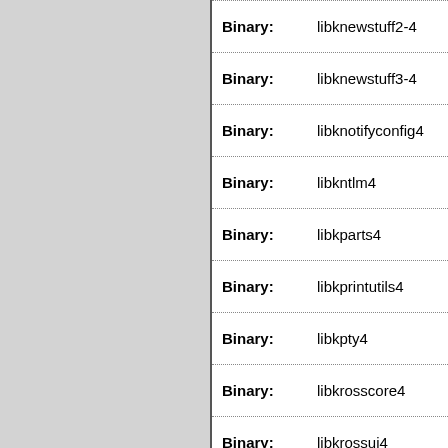| Field | Value |
| --- | --- |
| Binary: | libknewstuff2-4 |
| Binary: | libknewstuff3-4 |
| Binary: | libknotifyconfig4 |
| Binary: | libkntlm4 |
| Binary: | libkparts4 |
| Binary: | libkprintutils4 |
| Binary: | libkpty4 |
| Binary: | libkrosscore4 |
| Binary: | libkrossui4 |
| Binary: | libktexteditor4 |